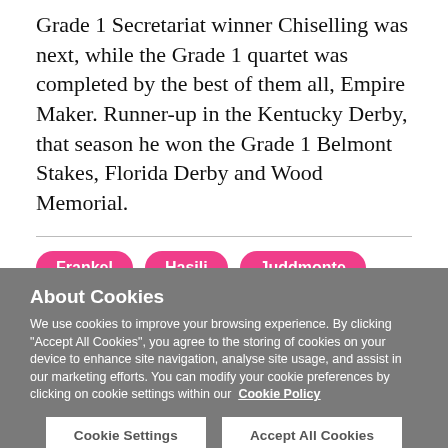Grade 1 Secretariat winner Chiselling was next, while the Grade 1 quartet was completed by the best of them all, Empire Maker. Runner-up in the Kentucky Derby, that season he won the Grade 1 Belmont Stakes, Florida Derby and Wood Memorial.
Frankel
Hasili
Juddmonte
About Cookies
We use cookies to improve your browsing experience. By clicking "Accept All Cookies", you agree to the storing of cookies on your device to enhance site navigation, analyse site usage, and assist in our marketing efforts. You can modify your cookie preferences by clicking on cookie settings within our Cookie Policy